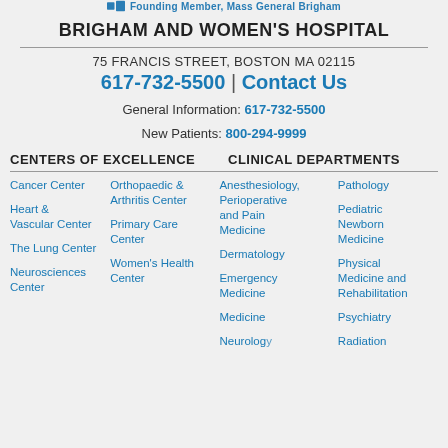Founding Member, Mass General Brigham
BRIGHAM AND WOMEN'S HOSPITAL
75 FRANCIS STREET, BOSTON MA 02115
617-732-5500 | Contact Us
General Information: 617-732-5500
New Patients: 800-294-9999
CENTERS OF EXCELLENCE
CLINICAL DEPARTMENTS
Cancer Center
Heart & Vascular Center
The Lung Center
Neurosciences Center
Orthopaedic & Arthritis Center
Primary Care Center
Women's Health Center
Anesthesiology, Perioperative and Pain Medicine
Dermatology
Emergency Medicine
Medicine
Neurology
Pathology
Pediatric Newborn Medicine
Physical Medicine and Rehabilitation
Psychiatry
Radiation